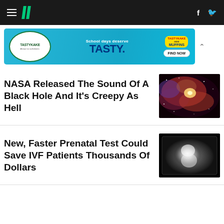HuffPost navigation bar with hamburger menu, logo, Facebook and Twitter icons
[Figure (photo): Tastykake advertisement banner: School days deserve TASTY. mini MUFFINS FIND NOW]
NASA Released The Sound Of A Black Hole And It's Creepy As Hell
[Figure (photo): Space image showing a black hole region with red and purple nebula clouds and bright center]
New, Faster Prenatal Test Could Save IVF Patients Thousands Of Dollars
[Figure (photo): Ultrasound image of a fetus on black background]